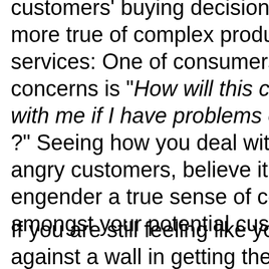customers' buying decision; This is more true of complex products and services: One of consumers' biggest concerns is "How will this company deal with me if I have problems or need help?" Seeing how you deal with frustrated, angry customers, believe it or not, can engender a true sense of confidence amongst your potential customers.
If you are still feeling like you are banging against a wall in getting the "right" content for your site, feel free to use the Contact link on the site and I will be happy to take a look at your site and give a few overall suggestions.